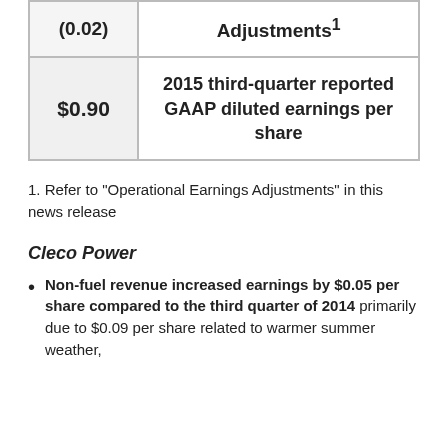| (0.02) | Adjustments¹ |
| $0.90 | 2015 third-quarter reported GAAP diluted earnings per share |
1. Refer to "Operational Earnings Adjustments" in this news release
Cleco Power
Non-fuel revenue increased earnings by $0.05 per share compared to the third quarter of 2014 primarily due to $0.09 per share related to warmer summer weather,